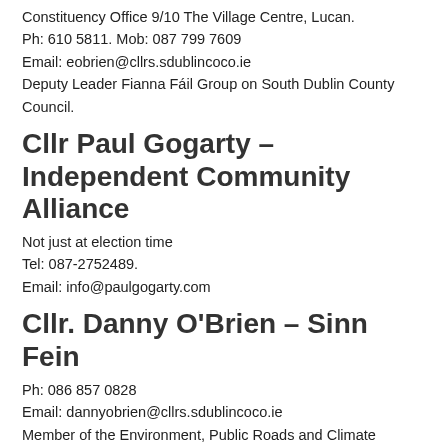Constituency Office 9/10 The Village Centre, Lucan. Ph: 610 5811. Mob: 087 799 7609
Email: eobrien@cllrs.sdublincoco.ie
Deputy Leader Fianna Fáil Group on South Dublin County Council.
Cllr Paul Gogarty – Independent Community Alliance
Not just at election time
Tel: 087-2752489.
Email: info@paulgogarty.com
Cllr. Danny O'Brien – Sinn Fein
Ph: 086 857 0828
Email: dannyobrien@cllrs.sdublincoco.ie
Member of the Environment, Public Roads and Climate